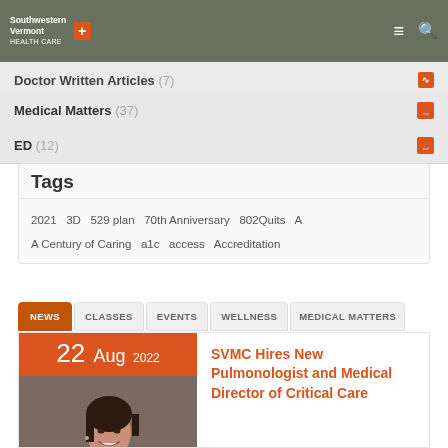Southwestern Vermont Health Care
Doctor Written Articles (7)
Medical Matters (37)
ED (12)
Tags
2021  3D  529 plan  70th Anniversary  802Quits  A  A Century of Caring  a1c  access  Accreditation
NEWS  CLASSES  EVENTS  WELLNESS  MEDICAL MATTERS
22 Aug 2022
SVMC Hires New Pulmonologist and Medical Director of Critical Care
[Figure (photo): Portrait photo of a female doctor smiling, wearing a white coat, with dark hair, on a grey background, with an orange date banner showing 22 Aug 2022 above it.]